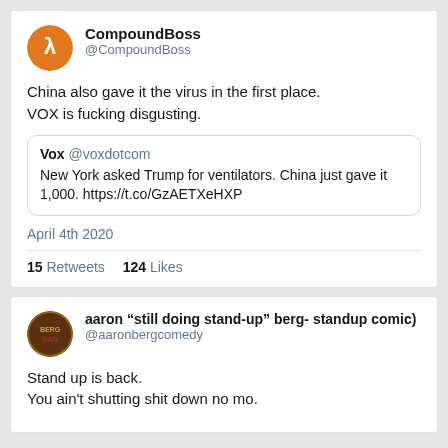[Figure (screenshot): First tweet card from CompoundBoss (@CompoundBoss) with orange avatar showing lambda symbol. Tweet text: 'China also gave it the virus in the first place. VOX is fucking disgusting.' with a quoted tweet from Vox @voxdotcom: 'New York asked Trump for ventilators. China just gave it 1,000. https://t.co/GzAETXeHXP'. Date: April 4th 2020. 15 Retweets 124 Likes.]
[Figure (screenshot): Second tweet card from aaron 'still doing stand-up' berg- standup comic) (@aaronbergcomedy) with colorful avatar. Tweet text: 'Stand up is back. You ain't shutting shit down no mo.']